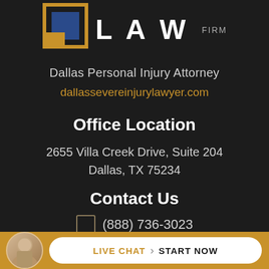[Figure (logo): Law Firm logo with geometric square icon and 'LAW FIRM' text]
Dallas Personal Injury Attorney
dallassevereinjurylawyer.com
Office Location
2655 Villa Creek Drive, Suite 204
Dallas, TX 75234
Contact Us
(888) 736-3023
Map / Directions
LIVE CHAT  START NOW